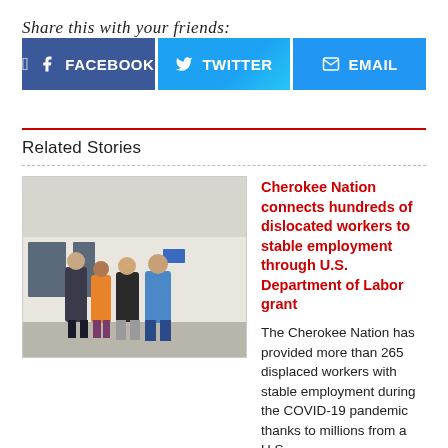Share this with your friends:
[Figure (infographic): Three social sharing buttons: Facebook (dark blue), Twitter (cyan/light blue), Email (blue)]
Related Stories
[Figure (photo): Group of four people standing in front of a building outdoors — one in a suit, one in orange, one in a dark shirt, one in a blue shirt]
Cherokee Nation connects hundreds of dislocated workers to stable employment through U.S. Department of Labor grant
The Cherokee Nation has provided more than 265 displaced workers with stable employment during the COVID-19 pandemic thanks to millions from a U.S...